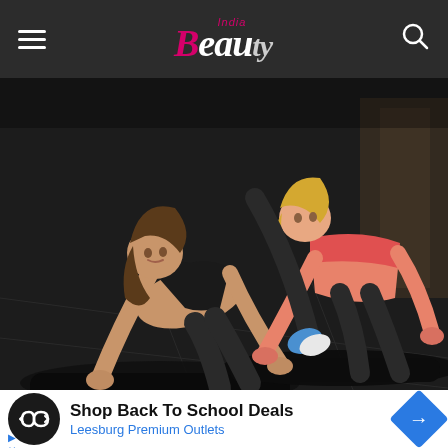India Beauty — navigation header with hamburger menu and search icon
[Figure (photo): Two women in workout clothes doing plank push-up exercises on black yoga mats on a gym floor]
[Figure (screenshot): Advertisement banner: Shop Back To School Deals — Leesburg Premium Outlets, with circular dark icon showing infinity-like arrows symbol and blue diamond navigation icon]